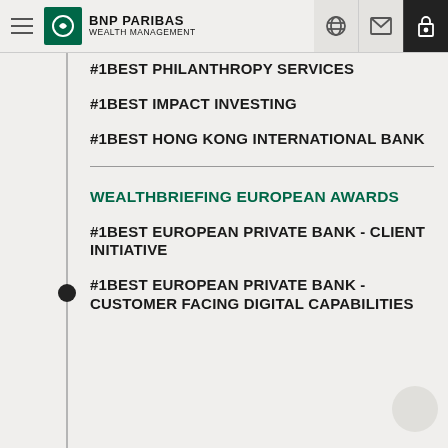BNP PARIBAS WEALTH MANAGEMENT
#1BEST PHILANTHROPY SERVICES
#1BEST IMPACT INVESTING
#1BEST HONG KONG INTERNATIONAL BANK
WEALTHBRIEFING EUROPEAN AWARDS
#1BEST EUROPEAN PRIVATE BANK - CLIENT INITIATIVE
#1BEST EUROPEAN PRIVATE BANK - CUSTOMER FACING DIGITAL CAPABILITIES